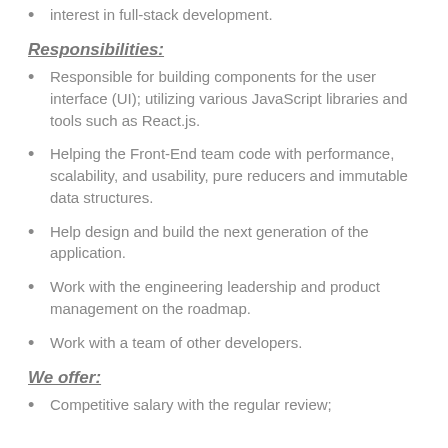interest in full-stack development.
Responsibilities:
Responsible for building components for the user interface (UI); utilizing various JavaScript libraries and tools such as React.js.
Helping the Front-End team code with performance, scalability, and usability, pure reducers and immutable data structures.
Help design and build the next generation of the application.
Work with the engineering leadership and product management on the roadmap.
Work with a team of other developers.
We offer:
Competitive salary with the regular review;